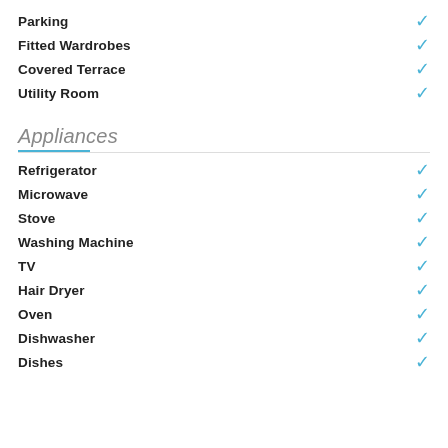Parking ✓
Fitted Wardrobes ✓
Covered Terrace ✓
Utility Room ✓
Appliances
Refrigerator ✓
Microwave ✓
Stove ✓
Washing Machine ✓
TV ✓
Hair Dryer ✓
Oven ✓
Dishwasher ✓
Dishes ✓